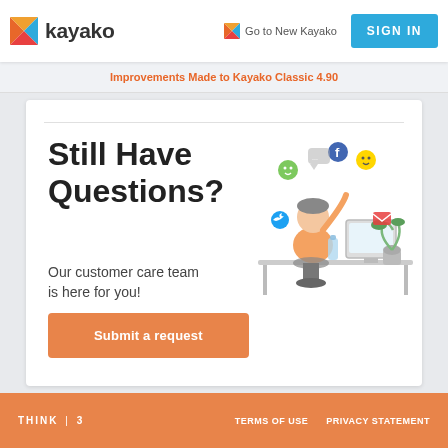kayako  |  Go to New Kayako  |  SIGN IN
Improvements Made to Kayako Classic 4.90
Still Have Questions?
Our customer care team is here for you!
[Figure (illustration): Customer care representative sitting at desk with social media icons floating around]
Submit a request
THINK|3  TERMS OF USE  PRIVACY STATEMENT